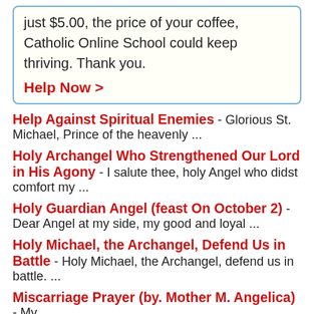just $5.00, the price of your coffee, Catholic Online School could keep thriving. Thank you.
Help Now >
Help Against Spiritual Enemies - Glorious St. Michael, Prince of the heavenly ...
Holy Archangel Who Strengthened Our Lord in His Agony - I salute thee, holy Angel who didst comfort my ...
Holy Guardian Angel (feast On October 2) - Dear Angel at my side, my good and loyal ...
Holy Michael, the Archangel, Defend Us in Battle - Holy Michael, the Archangel, defend us in battle. ...
Miscarriage Prayer (by. Mother M. Angelica) - My